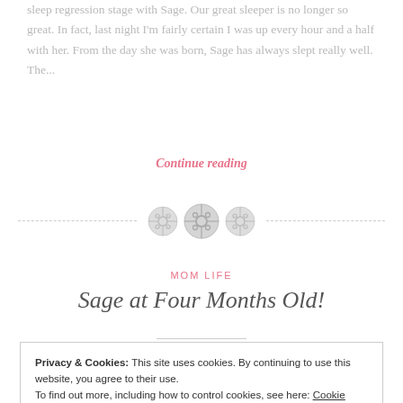sleep regression stage with Sage. Our great sleeper is no longer so great. In fact, last night I'm fairly certain I was up every hour and a half with her. From the day she was born, Sage has always slept really well. The...
Continue reading
[Figure (illustration): Three decorative button icons arranged horizontally with dashed lines on either side as a section divider]
MOM LIFE
Sage at Four Months Old!
Privacy & Cookies: This site uses cookies. By continuing to use this website, you agree to their use.
To find out more, including how to control cookies, see here: Cookie Policy
Close and accept
we've been in quarantine. Sage has grown three months...